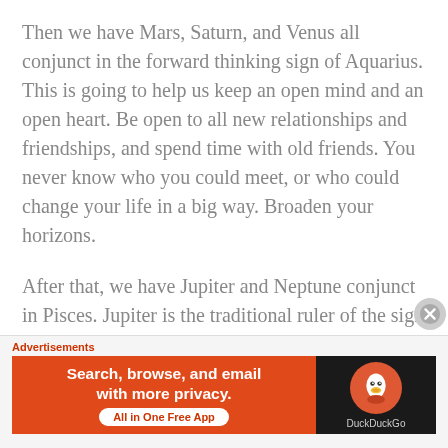Then we have Mars, Saturn, and Venus all conjunct in the forward thinking sign of Aquarius. This is going to help us keep an open mind and an open heart. Be open to all new relationships and friendships, and spend time with old friends. You never know who you could meet, or who could change your life in a big way. Broaden your horizons.
After that, we have Jupiter and Neptune conjunct in Pisces. Jupiter is the traditional ruler of the sign of Pisces, while Neptune is the modern ruler. This is a very profound conjunction that is bringing us deep, spiritual, soul growth, creative expansion, and
Advertisements
[Figure (infographic): DuckDuckGo advertisement banner with orange background on left side showing 'Search, browse, and email with more privacy. All in One Free App' and dark right side with DuckDuckGo duck logo]